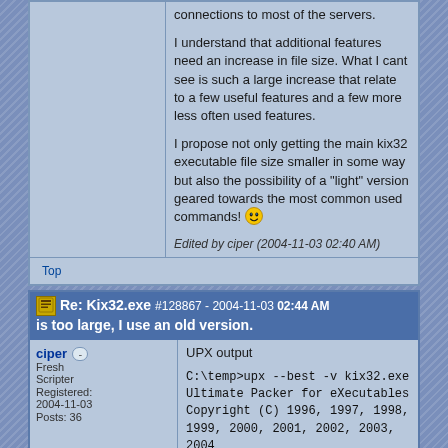connections to most of the servers.

I understand that additional features need an increase in file size. What I cant see is such a large increase that relate to a few useful features and a few more less often used features.

I propose not only getting the main kix32 executable file size smaller in some way but also the possibility of a "light" version geared towards the most common used commands!
Edited by ciper (2004-11-03 02:40 AM)
Top
Re: Kix32.exe #128867 - 2004-11-03 02:44 AM is too large, I use an old version.
ciper
Fresh Scripter
Registered: 2004-11-03
Posts: 36
UPX output
C:\temp>upx --best -v kix32.exe
Ultimate Packer for eXecutables
Copyright (C) 1996, 1997, 1998, 1999, 2000, 2001, 2002, 2003, 2004
UPX 1.25d Markus F.X.J. Oberhumer & Laszlo Molnar Jun 29th 2004